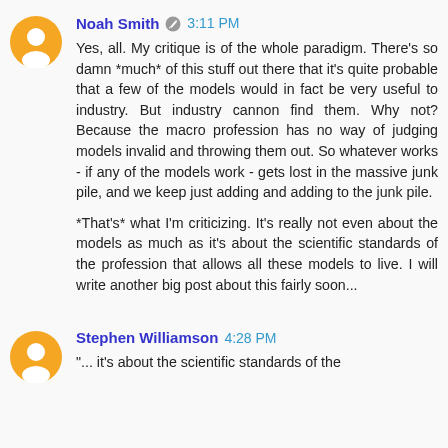Noah Smith 3:11 PM
Yes, all. My critique is of the whole paradigm. There's so damn *much* of this stuff out there that it's quite probable that a few of the models would in fact be very useful to industry. But industry cannon find them. Why not? Because the macro profession has no way of judging models invalid and throwing them out. So whatever works - if any of the models work - gets lost in the massive junk pile, and we keep just adding and adding to the junk pile.

*That's* what I'm criticizing. It's really not even about the models as much as it's about the scientific standards of the profession that allows all these models to live. I will write another big post about this fairly soon...
Stephen Williamson 4:28 PM
"... it's about the scientific standards of the